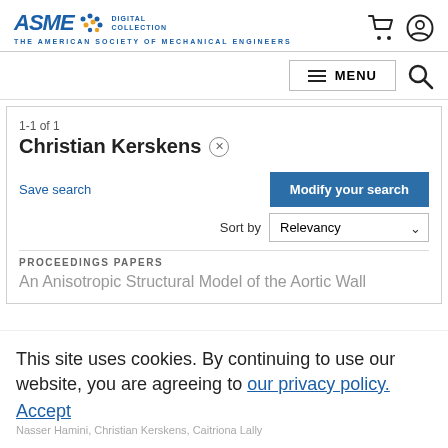ASME Digital Collection – The American Society of Mechanical Engineers
1-1 of 1
Christian Kerskens ×
Save search
Modify your search
Sort by Relevancy
PROCEEDINGS PAPERS
An Anisotropic Structural Model of the Aortic Wall
This site uses cookies. By continuing to use our website, you are agreeing to our privacy policy. Accept
Nasser Hamini, Christian Kerskens, Caitriona Lally